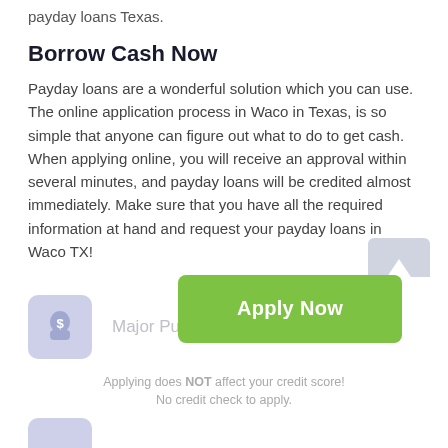payday loans Texas.
Borrow Cash Now
Payday loans are a wonderful solution which you can use. The online application process in Waco in Texas, is so simple that anyone can figure out what to do to get cash. When applying online, you will receive an approval within several minutes, and payday loans will be credited almost immediately. Make sure that you have all the required information at hand and request your payday loans in Waco TX!
Common Uses For a Loan
[Figure (other): Scroll-to-top arrow button, grey rounded square with upward white arrow]
[Figure (infographic): Loan use item: money bag icon in lavender box labeled 'Major Purchases', overlaid by green 'Apply Now' button. Below: 'Applying does NOT affect your credit score! No credit check to apply.']
Applying does NOT affect your credit score!
No credit check to apply.